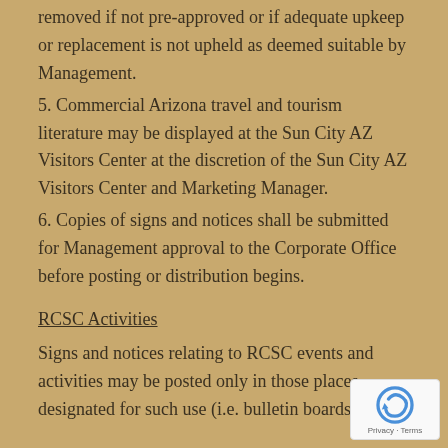removed if not pre-approved or if adequate upkeep or replacement is not upheld as deemed suitable by Management.
5. Commercial Arizona travel and tourism literature may be displayed at the Sun City AZ Visitors Center at the discretion of the Sun City AZ Visitors Center and Marketing Manager.
6. Copies of signs and notices shall be submitted for Management approval to the Corporate Office before posting or distribution begins.
RCSC Activities
Signs and notices relating to RCSC events and activities may be posted only in those places designated for such use (i.e. bulletin boards,